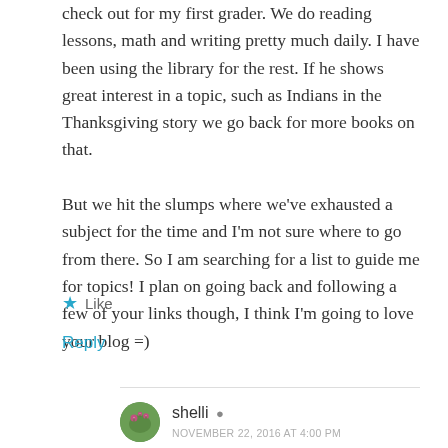check out for my first grader. We do reading lessons, math and writing pretty much daily. I have been using the library for the rest. If he shows great interest in a topic, such as Indians in the Thanksgiving story we go back for more books on that.
But we hit the slumps where we've exhausted a subject for the time and I'm not sure where to go from there. So I am searching for a list to guide me for topics! I plan on going back and following a few of your links though, I think I'm going to love your blog =)
Like
Reply
shelli
NOVEMBER 22, 2016 AT 4:00 PM